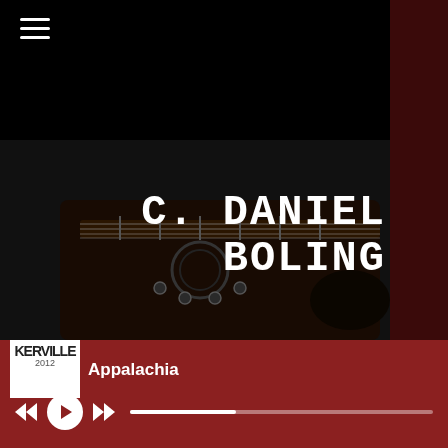[Figure (screenshot): Music player/website screenshot showing C. Daniel Boling artist page with guitar image background, hamburger menu icon, artist name overlay, album art thumbnail showing 'KERVILLE' text, song title 'Appalachia', and media player controls with progress bar on dark red background.]
C. DANIEL BOLING
Appalachia